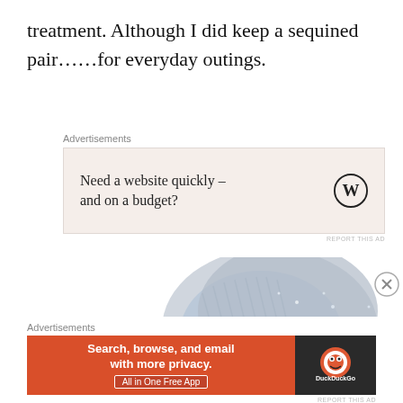treatment. Although I did keep a sequined pair……for everyday outings.
[Figure (other): Advertisement box with WordPress logo. Text reads: 'Need a website quickly – and on a budget?']
[Figure (photo): A silver glittery sequined high-heel shoe with a bow detail and clear lucite heel, shown on white background.]
[Figure (other): DuckDuckGo advertisement banner. Orange section with text: 'Search, browse, and email with more privacy. All in One Free App'. Dark section with DuckDuckGo logo.]